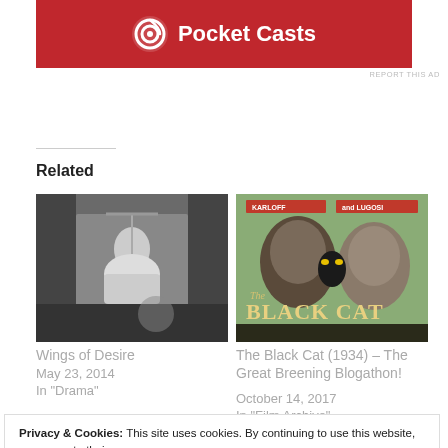[Figure (logo): Pocket Casts advertisement banner with red background, circular logo icon and white text 'Pocket Casts']
REPORT THIS AD
Related
[Figure (photo): Black and white photo of a person on a swing or trapeze in what appears to be a theatrical setting]
Wings of Desire
May 23, 2014
In "Drama"
[Figure (photo): Vintage movie poster for The Black Cat (1934) featuring Karloff and Lugosi with a black cat, green background]
The Black Cat (1934) – The Great Breening Blogathon!
October 14, 2017
In "Film Archive"
Privacy & Cookies: This site uses cookies. By continuing to use this website, you agree to their use.
To find out more, including how to control cookies, see here: Cookie Policy
Close and accept